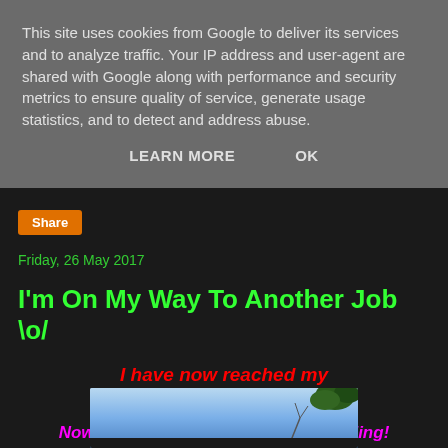This site uses cookies from Google to deliver its services and to analyze traffic. Your IP address and user-agent are shared with Google along with performance and security metrics to ensure quality of service, generate usage statistics, and to detect and address abuse.
LEARN MORE   OK
Share
Friday, 26 May 2017
I'm On My Way To Another Job \o/
I have now reached my
1000th blog entry!
Now to celebrate with the Friday Feeling!
With more sunshine! 😊
[Figure (photo): Outdoor photo showing blue sky with tree foliage/branches visible in the upper right corner]